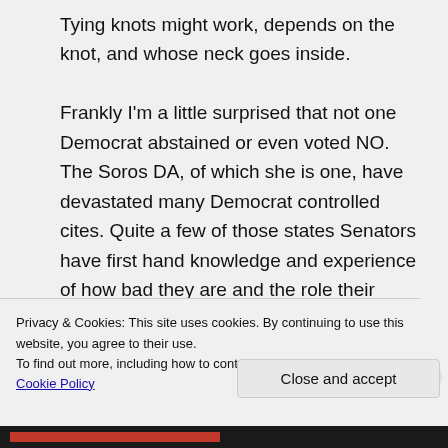Tying knots might work, depends on the knot, and whose neck goes inside.

Frankly I'm a little surprised that not one Democrat abstained or even voted NO. The Soros DA, of which she is one, have devastated many Democrat controlled cites. Quite a few of those states Senators have first hand knowledge and experience of how bad they are and the role their policies have had on plummeting polls for
Privacy & Cookies: This site uses cookies. By continuing to use this website, you agree to their use.
To find out more, including how to control cookies, see here: Cookie Policy
Close and accept